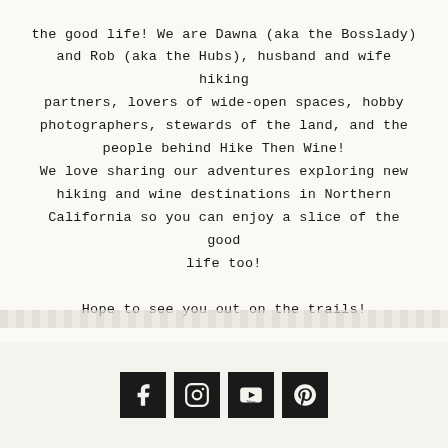the good life! We are Dawna (aka the Bosslady) and Rob (aka the Hubs), husband and wife hiking partners, lovers of wide-open spaces, hobby photographers, stewards of the land, and the people behind Hike Then Wine! We love sharing our adventures exploring new hiking and wine destinations in Northern California so you can enjoy a slice of the good life too! Hope to see you out on the trails!
[Figure (other): Social media icon buttons for Facebook, Instagram, YouTube, and Pinterest on a dark background]